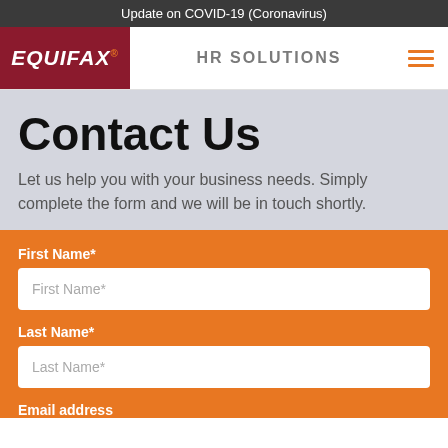Update on COVID-19 (Coronavirus)
[Figure (logo): Equifax logo — white italic bold text on dark red background with orange registered trademark dot]
HR SOLUTIONS
Contact Us
Let us help you with your business needs. Simply complete the form and we will be in touch shortly.
First Name*
First Name*
Last Name*
Last Name*
Email address